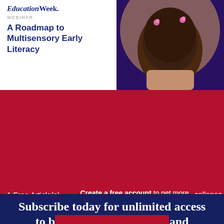[Figure (logo): EducationWeek. logo with WEBINAR label]
A Roadmap to Multisensory Early Literacy
[Figure (photo): Photo of young girl with braids from behind]
1 Free Article(s) Left
Create a free account to get more features and free newsletters.
SUBSCRIBE FOR UNLIMITED ACCESS
collapse
Subscribe today for unlimited access to best practices, insights, and solutions.
SUBSCRIBE